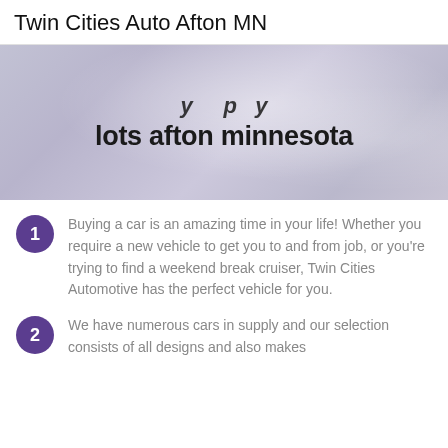Twin Cities Auto Afton MN
[Figure (photo): A blurred photo of a car dealership interior/lot with overlay text: 'lots afton minnesota']
Buying a car is an amazing time in your life! Whether you require a new vehicle to get you to and from job, or you're trying to find a weekend break cruiser, Twin Cities Automotive has the perfect vehicle for you.
We have numerous cars in supply and our selection consists of all designs and also makes